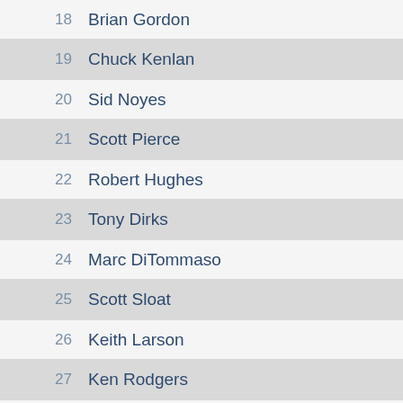18 Brian Gordon
19 Chuck Kenlan
20 Sid Noyes
21 Scott Pierce
22 Robert Hughes
23 Tony Dirks
24 Marc DiTommaso
25 Scott Sloat
26 Keith Larson
27 Ken Rodgers
28 Paul Hurlburt
29 (partial)